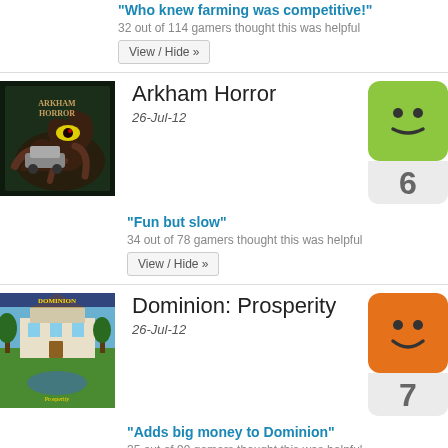"Who knew farming was competitive!"
32 out of 114 gamers thought this was helpful
View / Hide »
Arkham Horror
26-Jul-12
[Figure (illustration): Arkham Horror board game cover art showing tentacled monster]
[Figure (illustration): Green smiley face rating icon with score 6]
"Fun but slow"
34 out of 78 gamers thought this was helpful
View / Hide »
Dominion: Prosperity
26-Jul-12
[Figure (illustration): Dominion Prosperity board game cover art]
[Figure (illustration): Orange smiley face rating icon with score 7]
"Adds big money to Dominion"
35 out of 99 gamers thought this was helpful
View / Hide »